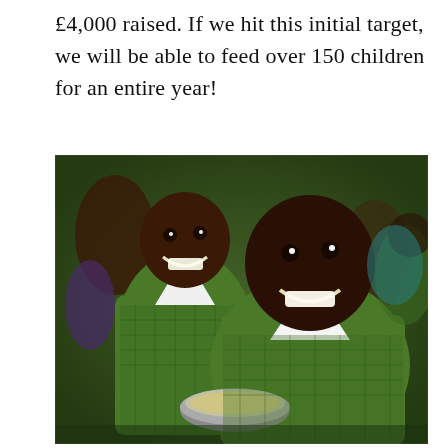£4,000 raised. If we hit this initial target, we will be able to feed over 150 children for an entire year!
[Figure (photo): Two smiling children in green and white checkered school uniforms sitting outdoors, one holding a metal bowl with food, surrounded by other children in similar uniforms]